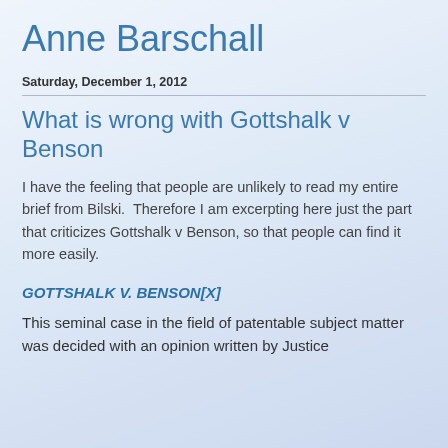Anne Barschall
Saturday, December 1, 2012
What is wrong with Gottshalk v Benson
I have the feeling that people are unlikely to read my entire brief from Bilski.  Therefore I am excerpting here just the part that criticizes Gottshalk v Benson, so that people can find it more easily.
GOTTSHALK V. BENSON[X]
This seminal case in the field of patentable subject matter was decided with an opinion written by Justice